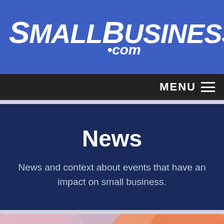SmallBusiness.com
MENU
News
News and context about events that have an impact on small business.
[Figure (photo): Close-up photo of a person's hand pressing keys on a cash register or point-of-sale terminal, with colorful merchandise in the background]